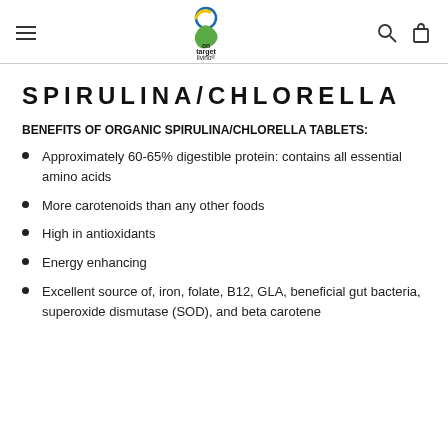on target living
SPIRULINA/CHLORELLA
BENEFITS OF ORGANIC SPIRULINA/CHLORELLA TABLETS:
Approximately 60-65% digestible protein: contains all essential amino acids
More carotenoids than any other foods
High in antioxidants
Energy enhancing
Excellent source of, iron, folate, B12, GLA, beneficial gut bacteria, superoxide dismutase (SOD), and beta carotene